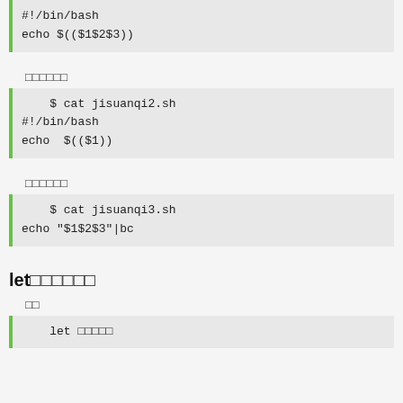#!/bin/bash
echo $(($1$2$3))
□□□□□□
$ cat jisuanqi2.sh
#!/bin/bash
echo  $(($1))
□□□□□□
$ cat jisuanqi3.sh
echo "$1$2$3"|bc
let□□□□□□
□□
let □□□□□